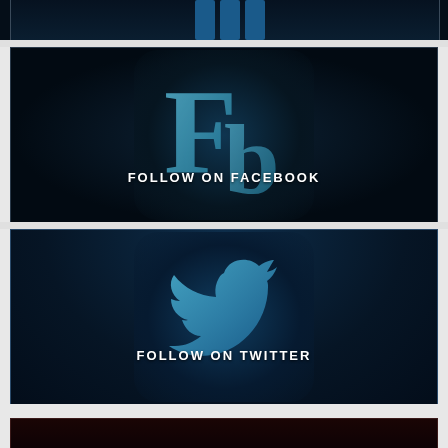[Figure (illustration): Top cropped panel showing partial social media icon with dark blue background - partially visible at top]
[Figure (illustration): Facebook follow banner: dark background with glowing 'Fb' icon and text 'FOLLOW ON FACEBOOK']
[Figure (illustration): Twitter follow banner: dark blue background with glowing Twitter bird icon and text 'FOLLOW ON TWITTER']
[Figure (illustration): Bottom partial dark red/maroon panel, partially visible]